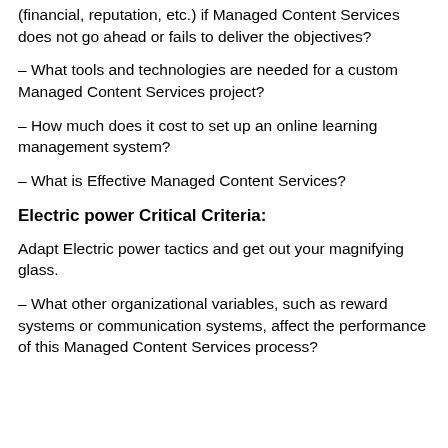(financial, reputation, etc.) if Managed Content Services does not go ahead or fails to deliver the objectives?
– What tools and technologies are needed for a custom Managed Content Services project?
– How much does it cost to set up an online learning management system?
– What is Effective Managed Content Services?
Electric power Critical Criteria:
Adapt Electric power tactics and get out your magnifying glass.
– What other organizational variables, such as reward systems or communication systems, affect the performance of this Managed Content Services process?